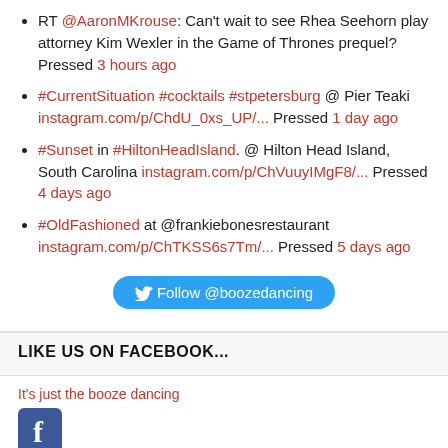RT @AaronMKrouse: Can't wait to see Rhea Seehorn play attorney Kim Wexler in the Game of Thrones prequel? Pressed 3 hours ago
#CurrentSituation #cocktails #stpetersburg @ Pier Teaki instagram.com/p/ChdU_0xs_UP/... Pressed 1 day ago
#Sunset in #HiltonHeadIsland. @ Hilton Head Island, South Carolina instagram.com/p/ChVuuyIMgF8/... Pressed 4 days ago
#OldFashioned at @frankiebonesrestaurant instagram.com/p/ChTKSS6s7Tm/... Pressed 5 days ago
[Figure (other): Twitter Follow @boozedancing button]
LIKE US ON FACEBOOK...
It's just the booze dancing
[Figure (logo): Facebook logo icon]
Promote Your Page Too